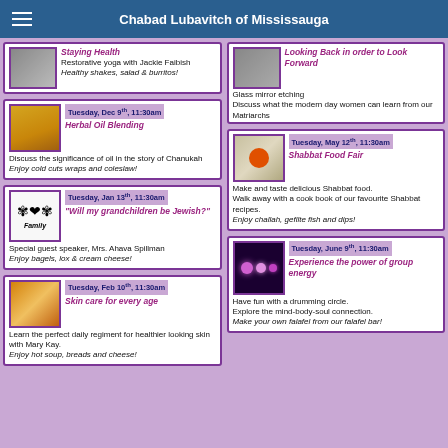Chabad Lubavitch of Mississauga
Staying Health
Restorative yoga with Jackie Faibish
Healthy shakes, salad & burritos!
Looking Back in order to Look Forward
Glass mirror etching
Discuss what the modern day women can learn from our Matriarchs
Enjoy party sandwiches & fresh fruit!
Tuesday, Dec 9th, 11:30am
Herbal Oil Blending
Discuss the significance of oil in the story of Chanukah
Enjoy cold cuts wraps and coleslaw!
Tuesday, May 12th, 11:30am
Shabbat Food Fair
Make and taste delicious Shabbat food.
Walk away with a cook book of our favourite Shabbat recipes.
Enjoy challah, gefilte fish and dips!
Tuesday, Jan 13th, 11:30am
"Will my grandchildren be Jewish?"
Special guest speaker, Mrs. Ahava Spillman
Enjoy bagels, lox & cream cheese!
Tuesday, June 9th, 11:30am
Experience the power of group energy
Have fun with a drumming circle.
Explore the mind-body-soul connection.
Make your own falafel from our falafel bar!
Tuesday, Feb 10th, 11:30am
Skin care for every age
Learn the perfect daily regiment for healthier looking skin with Mary Kay.
Enjoy hot soup, breads and cheese!